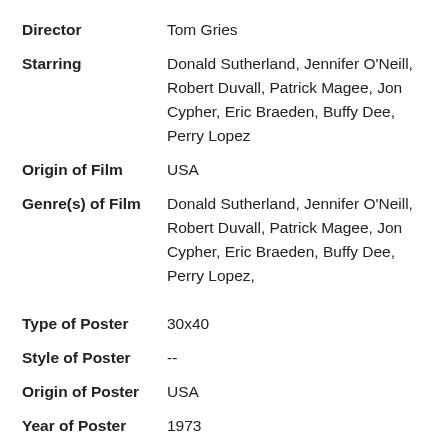Director: Tom Gries
Starring: Donald Sutherland, Jennifer O'Neill, Robert Duvall, Patrick Magee, Jon Cypher, Eric Braeden, Buffy Dee, Perry Lopez
Origin of Film: USA
Genre(s) of Film: Donald Sutherland, Jennifer O'Neill, Robert Duvall, Patrick Magee, Jon Cypher, Eric Braeden, Buffy Dee, Perry Lopez,
Type of Poster: 30x40
Style of Poster: --
Origin of Poster: USA
Year of Poster: 1973